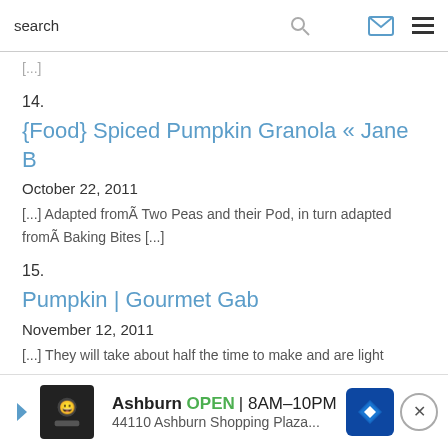search
[...]
14.
{Food} Spiced Pumpkin Granola « Jane B
October 22, 2011
[...] Adapted fromÃ Two Peas and their Pod, in turn adapted fromÃ Baking Bites [...]
15.
Pumpkin | Gourmet Gab
November 12, 2011
[...] They will take about half the time to make and are light
[Figure (screenshot): Ad banner: Ashburn OPEN 8AM-10PM, 44110 Ashburn Shopping Plaza...]